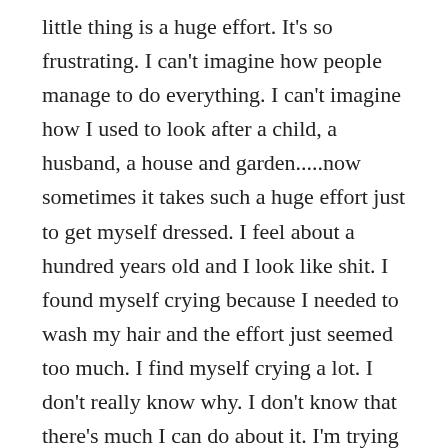little thing is a huge effort. It's so frustrating. I can't imagine how people manage to do everything. I can't imagine how I used to look after a child, a husband, a house and garden.....now sometimes it takes such a huge effort just to get myself dressed. I feel about a hundred years old and I look like shit. I found myself crying because I needed to wash my hair and the effort just seemed too much. I find myself crying a lot. I don't really know why. I don't know that there's much I can do about it. I'm trying my hardest to keep going and that's all I can do. I went to my sisters over the weekend and it was a lovely day but by the time I got home I just felt so drained